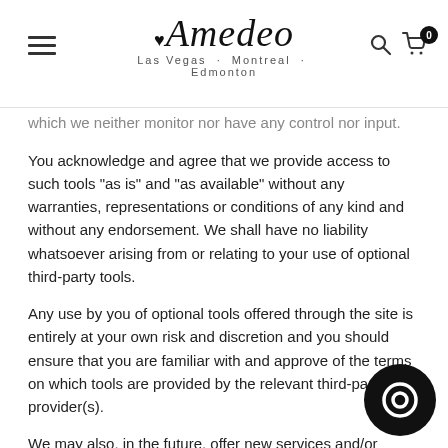Amedeo — Las Vegas · Montreal · Edmonton
which we neither monitor nor have any control nor input.
You acknowledge and agree that we provide access to such tools "as is" and "as available" without any warranties, representations or conditions of any kind and without any endorsement. We shall have no liability whatsoever arising from or relating to your use of optional third-party tools.
Any use by you of optional tools offered through the site is entirely at your own risk and discretion and you should ensure that you are familiar with and approve of the terms on which tools are provided by the relevant third-party provider(s).
We may also, in the future, offer new services and/or through the website (including, the release of new tools and